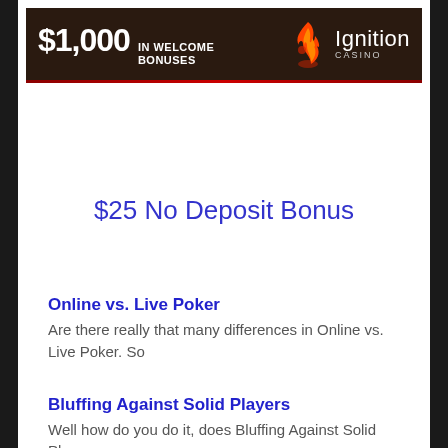[Figure (other): Ignition Casino banner advertisement showing $1,000 in welcome bonuses with flame logo]
$25 No Deposit Bonus
Online vs. Live Poker
Are there really that many differences in Online vs. Live Poker. So
Bluffing Against Solid Players
Well how do you do it, does Bluffing Against Solid Players ever